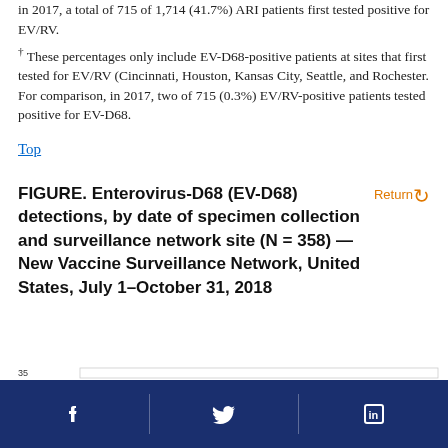in 2017, a total of 715 of 1,714 (41.7%) ARI patients first tested positive for EV/RV.
† These percentages only include EV-D68-positive patients at sites that first tested for EV/RV (Cincinnati, Houston, Kansas City, Seattle, and Rochester. For comparison, in 2017, two of 715 (0.3%) EV/RV-positive patients tested positive for EV-D68.
Top
FIGURE. Enterovirus-D68 (EV-D68) detections, by date of specimen collection and surveillance network site (N = 358) — New Vaccine Surveillance Network, United States, July 1–October 31, 2018
[Figure (other): Partial view of a bar chart showing EV-D68 detections. Only the top portion is visible with y-axis label showing 35.]
Facebook | Twitter | LinkedIn social media icons